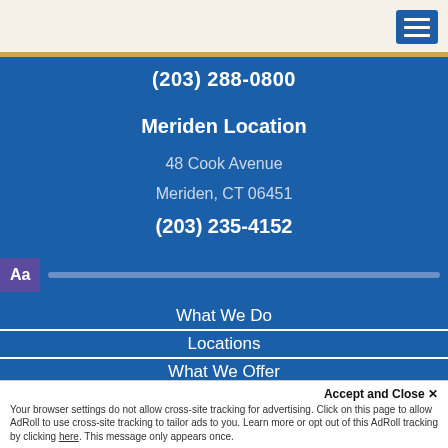(203) 288-0800
Meriden Location
48 Cook Avenue
Meriden, CT 06451
(203) 235-4152
What We Do
Locations
What We Offer
Plan Ahead
Accept and Close ✕
Your browser settings do not allow cross-site tracking for advertising. Click on this page to allow AdRoll to use cross-site tracking to tailor ads to you. Learn more or opt out of this AdRoll tracking by clicking here. This message only appears once.